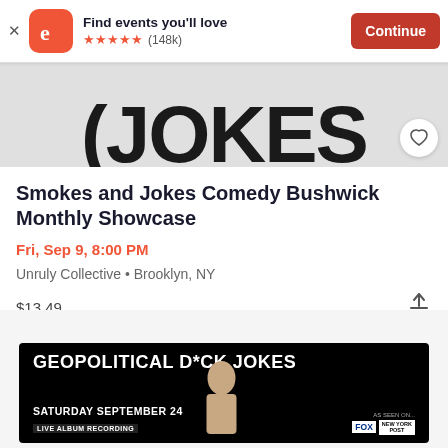[Figure (screenshot): Eventbrite app banner with logo, 'Find events you'll love', 5-star rating (148k), and Continue button]
[Figure (photo): Partial comedy show image showing large stylized text 'JOKES' on grey background with a circular heart/favorite button]
Smokes and Jokes Comedy Bushwick Monthly Showcase
Fri, Sep 9, 8:00 PM
Unruly Collective • Brooklyn, NY
$13.49
[Figure (photo): Event poster for 'GEOPOLITICAL D*CK JOKES' show on Saturday September 24, Live Album Recording, with comedian photo and media logos (FOX, New York Post)]